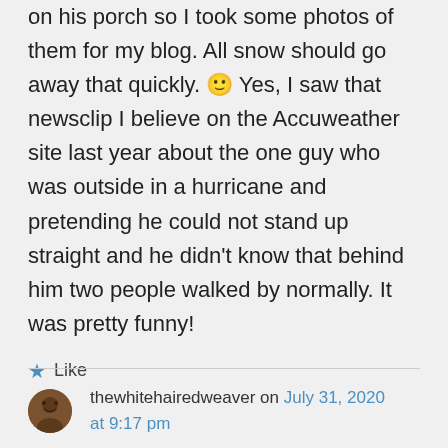on his porch so I took some photos of them for my blog. All snow should go away that quickly. 🙂 Yes, I saw that newsclip I believe on the Accuweather site last year about the one guy who was outside in a hurricane and pretending he could not stand up straight and he didn't know that behind him two people walked by normally. It was pretty funny!
★ Like
thewhitehairedweaver on July 31, 2020 at 9:17 pm